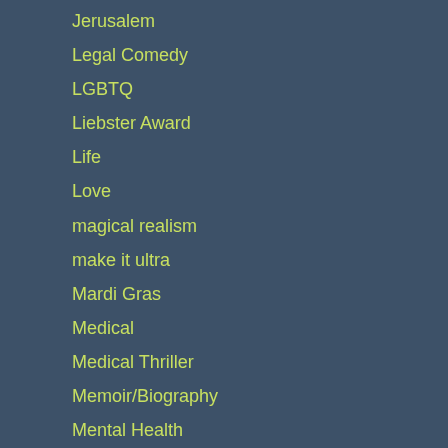Jerusalem
Legal Comedy
LGBTQ
Liebster Award
Life
Love
magical realism
make it ultra
Mardi Gras
Medical
Medical Thriller
Memoir/Biography
Mental Health
Middle East
Modern Crime Fiction
Multiple Sclerosis
music